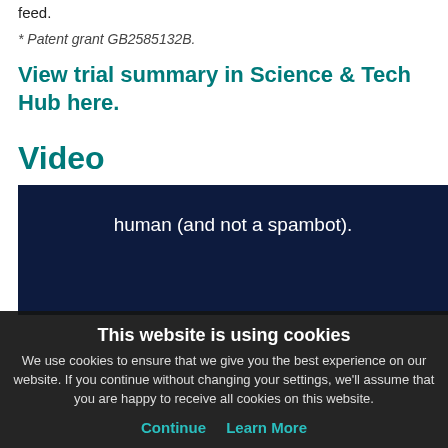feed.
* Patent grant GB2585132B.
View trial summary in Science & Tech Hub here.
Video
[Figure (screenshot): Embedded video player with dark navy background showing CAPTCHA verification text: 'human (and not a spambot).' and reCAPTCHA checkbox with label 'I'm not a robot']
This website is using cookies
We use cookies to ensure that we give you the best experience on our website. If you continue without changing your settings, we'll assume that you are happy to receive all cookies on this website.
Continue   Learn More